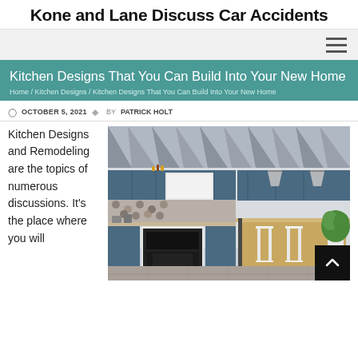Kone and Lane Discuss Car Accidents
Kitchen Designs That You Can Build Into Your New Home
Home / Kitchen Designs / Kitchen Designs That You Can Build Into Your New Home
OCTOBER 5, 2021  BY PATRICK HOLT
Kitchen Designs and Remodeling are the topics of numerous discussions. It's the place where you will
[Figure (photo): Modern kitchen with blue-grey cabinets, white lower cabinets, exposed ceiling beams, hanging pendant lights, a kitchen island with dining area, and a potted plant.]